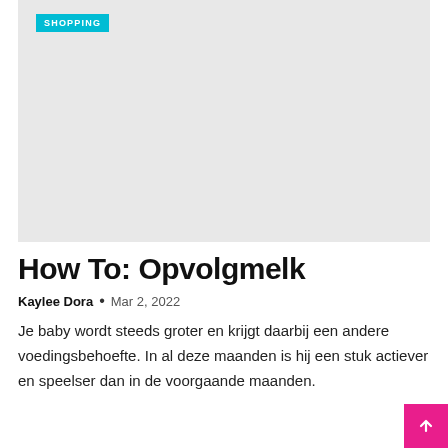[Figure (photo): Large light gray placeholder image area with a 'SHOPPING' teal badge label in the top-left corner]
How To: Opvolgmelk
Kaylee Dora  •  Mar 2, 2022
Je baby wordt steeds groter en krijgt daarbij een andere voedingsbehoefte. In al deze maanden is hij een stuk actiever en speelser dan in de voorgaande maanden.